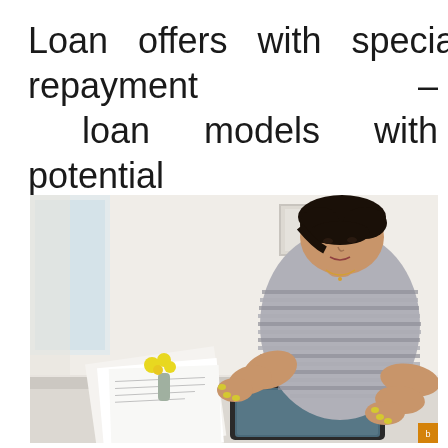Loan offers with special repayment – loan models with potential
[Figure (photo): A young woman with short dark hair wearing a grey and white striped long-sleeve shirt, sitting at a white desk reviewing documents and using a tablet device. In the background there is a bright room with a window, a framed picture on the wall, and yellow flowers in a vase.]